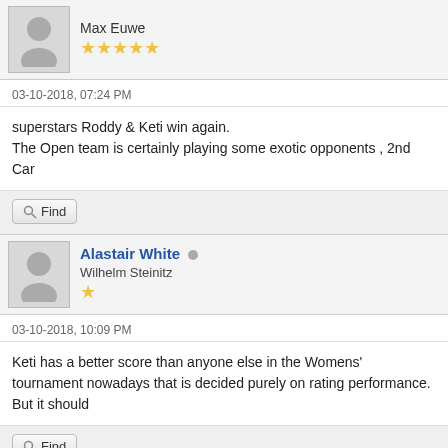Max Euwe
★★★★★
03-10-2018, 07:24 PM
superstars Roddy & Keti win again.
The Open team is certainly playing some exotic opponents , 2nd Car
Find
Alastair White
Wilhelm Steinitz
★
03-10-2018, 10:09 PM
Keti has a better score than anyone else in the Womens' tournament nowadays that is decided purely on rating performance. But it should
Find
Alan Borwell